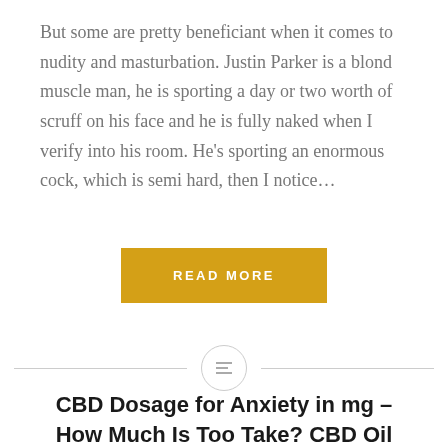But some are pretty beneficiant when it comes to nudity and masturbation. Justin Parker is a blond muscle man, he is sporting a day or two worth of scruff on his face and he is fully naked when I verify into his room. He's sporting an enormous cock, which is semi hard, then I notice…
READ MORE
[Figure (other): Horizontal divider line with a small circle icon in the center containing three horizontal lines (hamburger/list icon)]
CBD Dosage for Anxiety in mg – How Much Is Too Take? CBD Oil Dosage Calculator